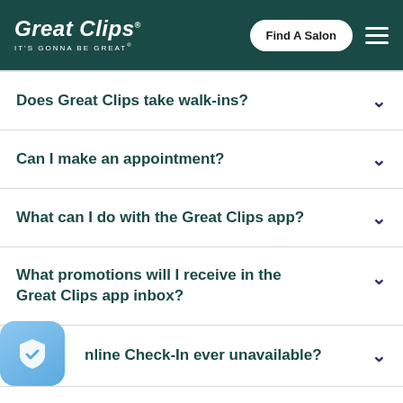Great Clips — IT'S GONNA BE GREAT — Find A Salon
Does Great Clips take walk-ins?
Can I make an appointment?
What can I do with the Great Clips app?
What promotions will I receive in the Great Clips app inbox?
Is Online Check-In ever unavailable?